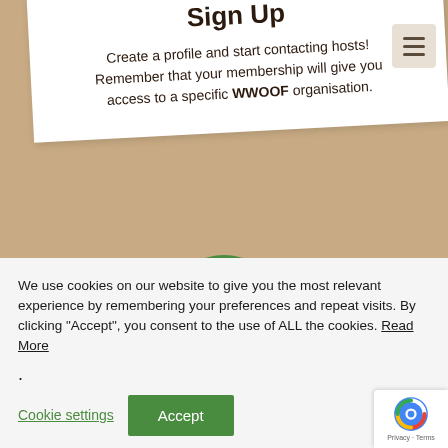Sign Up
Create a profile and start contacting hosts! Remember that your membership will give you access to a specific WWOOF organisation.
[Figure (logo): Green circle with white fork and plant/sprout icon — WWOOF logo]
We use cookies on our website to give you the most relevant experience by remembering your preferences and repeat visits. By clicking “Accept”, you consent to the use of ALL the cookies. Read More
.
Cookie settings   Accept